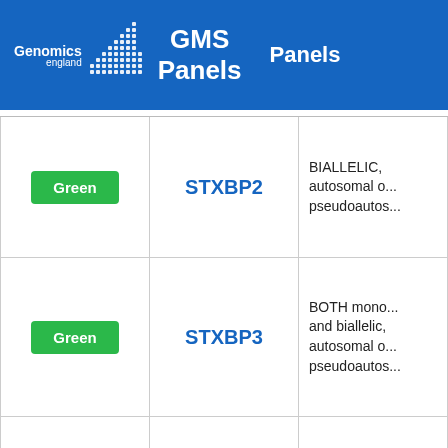Genomics England GMS Panels — Panels
| Rating | Gene | Mode of Inheritance |
| --- | --- | --- |
| Green | STXBP2 | BIALLELIC, autosomal or pseudoautosomal |
| Green | STXBP3 | BOTH monoallelic and biallelic, autosomal or pseudoautosomal |
| Green | SYK | MONOALLELIC, autosomal or pseudoautosomal, NOT imprinted |
| Green |  | BIALLELIC, |